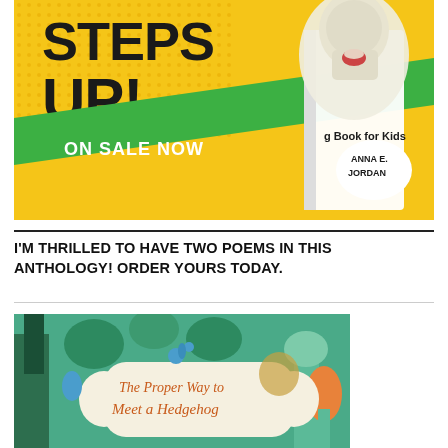[Figure (illustration): Book cover advertisement for a dog/animal poetry anthology showing 'STEPS UP! ON SALE NOW – Dog Book for Kids' by Anna E. Jordan, with a golden dog image, yellow and green graphic design background]
I'M THRILLED TO HAVE TWO POEMS IN THIS ANTHOLOGY! ORDER YOURS TODAY.
[Figure (illustration): Book cover image for 'The Proper Way to Meet a Hedgehog' with colorful illustrated forest/nature background in teal, green and orange tones]